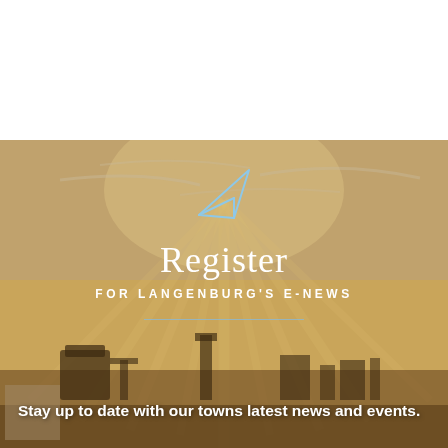[Figure (photo): Background photo of a rural prairie scene at sunset with golden sky, sunrays, and silhouetted industrial or agricultural structures at the bottom]
Register
FOR LANGENBURG'S E-NEWS
Stay up to date with our towns latest news and events.